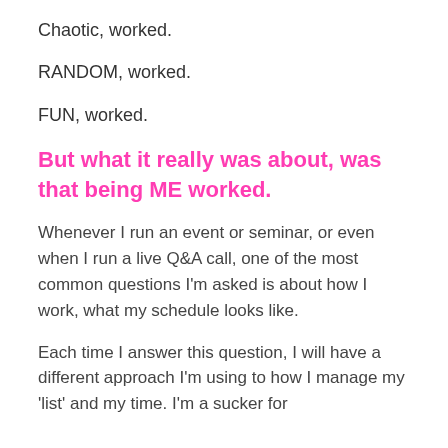Chaotic, worked.
RANDOM, worked.
FUN, worked.
But what it really was about, was that being ME worked.
Whenever I run an event or seminar, or even when I run a live Q&A call, one of the most common questions I'm asked is about how I work, what my schedule looks like.
Each time I answer this question, I will have a different approach I'm using to how I manage my 'list' and my time. I'm a sucker for